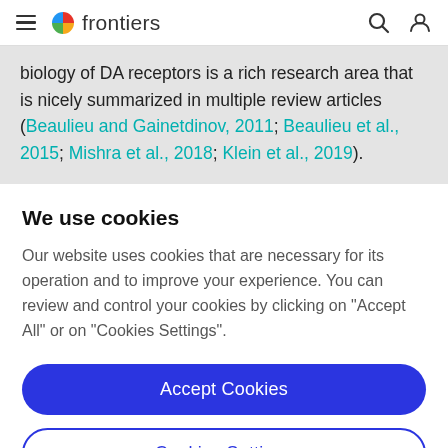frontiers
biology of DA receptors is a rich research area that is nicely summarized in multiple review articles (Beaulieu and Gainetdinov, 2011; Beaulieu et al., 2015; Mishra et al., 2018; Klein et al., 2019).
We use cookies
Our website uses cookies that are necessary for its operation and to improve your experience. You can review and control your cookies by clicking on "Accept All" or on "Cookies Settings".
Accept Cookies
Cookies Settings